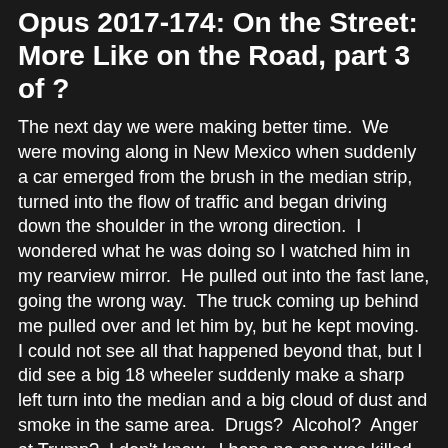Opus 2017-174: On the Street: More Like on the Road, part 3 of ?
The next day we were making better time.  We were moving along in New Mexico when suddenly a car emerged from the brush in the median strip, turned into the flow of traffic and began driving down the shoulder in the wrong direction.  I wondered what he was doing so I watched him in my rearview mirror.  He pulled out into the fast lane, going the wrong way.  The truck coming up behind me pulled over and let him by, but he kept moving.  I could not see all that happened beyond that, but I did see a big 18 wheeler suddenly make a sharp left turn into the median and a big cloud of dust and smoke in the same area.  Drugs?  Alcohol?  Anger at Trump?  I don't know.  I hope no one was killed but once again we managed to miss death by a few moments.
At 3:22 P.M. we entered the Republic of Texas.
We kept driving and finally arrived at our reserved hotel.  It was 8:00 P.M. local.  We had been on the road another 10